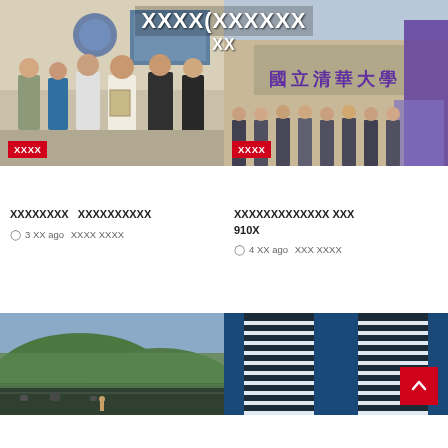⬛⬛⬛⬛(⬛⬛⬛⬛⬛⬛ ⬛⬛
[Figure (photo): Group of people posing indoors with thumbs up, holding a certificate/award]
⬛⬛⬛⬛
⬛⬛⬛⬛⬛⬛⬛⬛　⬛⬛⬛⬛⬛⬛⬛⬛⬛⬛
🕐 3 ⬛⬛ ago　⬛⬛⬛⬛ ⬛⬛⬛⬛
[Figure (photo): Group of men in suits posing in front of National Tsing Hua University building sign]
⬛⬛⬛⬛
⬛⬛⬛⬛⬛⬛⬛⬛⬛⬛⬛⬛⬛ ⬛⬛⬛ 910⬛
🕐 4 ⬛⬛ ago　⬛⬛⬛ ⬛⬛⬛⬛
[Figure (photo): Green terraced hillside landscape]
[Figure (photo): Modern building photographed from below against blue sky, with red scroll-to-top button overlay]